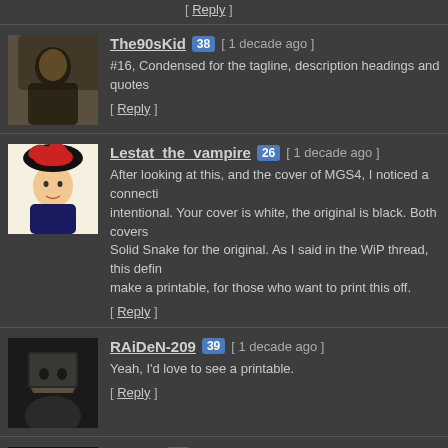[ Reply ]
The90sKid 38 [ 1 decade ago ]
#16, Condensed for the tagline, description headings and quotes
[ Reply ]
Lestat_the_vampire 26 [ 1 decade ago ]
After looking at this, and the cover of MGS4, I noticed a connecti... intentional. Your cover is white, the original is black. Both covers... Solid Snake for the original. As I said in the WiP thread, this defin... make a printable, for those who want to print this off.
[ Reply ]
RAiDeN-209 39 [ 1 decade ago ]
Yeah, I'd love to see a printable.
[ Reply ]
aelixus 45 [ 1 decade ago ]
Really nice, although Raiden too dark but it still fine. Stunning wo
[ Reply ]